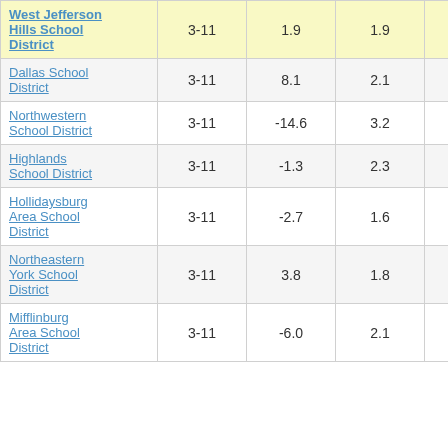| School District | Grades | Col3 | Col4 | Score |  |
| --- | --- | --- | --- | --- | --- |
| West Jefferson Hills School District | 3-11 | 1.9 | 1.9 | 0.99 | 3 |
| Dallas School District | 3-11 | 8.1 | 2.1 | 3.87 |  |
| Northwestern School District | 3-11 | -14.6 | 3.2 | -4.51 |  |
| Highlands School District | 3-11 | -1.3 | 2.3 | -0.55 |  |
| Hollidaysburg Area School District | 3-11 | -2.7 | 1.6 | -1.64 |  |
| Northeastern York School District | 3-11 | 3.8 | 1.8 | 2.11 |  |
| Mifflinburg Area School District | 3-11 | -6.0 | 2.1 | -2.87 |  |